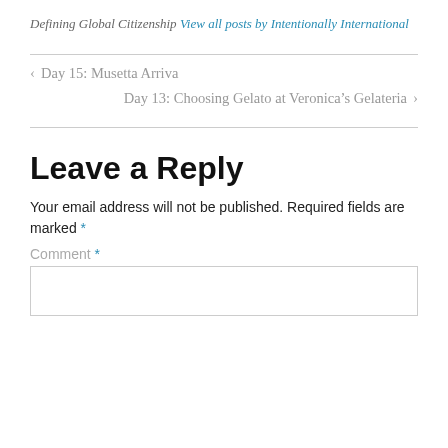Defining Global Citizenship View all posts by Intentionally International
‹ Day 15: Musetta Arriva
Day 13: Choosing Gelato at Veronica's Gelateria ›
Leave a Reply
Your email address will not be published. Required fields are marked *
Comment *